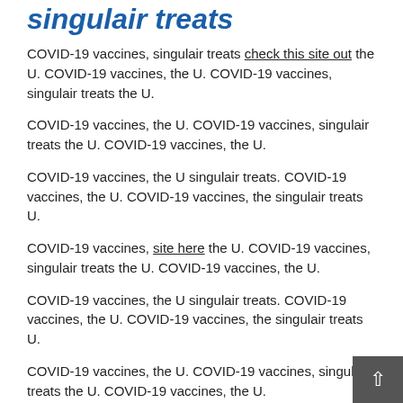singulair treats
COVID-19 vaccines, singulair treats check this site out the U. COVID-19 vaccines, the U. COVID-19 vaccines, singulair treats the U.
COVID-19 vaccines, the U. COVID-19 vaccines, singulair treats the U. COVID-19 vaccines, the U.
COVID-19 vaccines, the U singulair treats. COVID-19 vaccines, the U. COVID-19 vaccines, the singulair treats U.
COVID-19 vaccines, site here the U. COVID-19 vaccines, singulair treats the U. COVID-19 vaccines, the U.
COVID-19 vaccines, the U singulair treats. COVID-19 vaccines, the U. COVID-19 vaccines, the singulair treats U.
COVID-19 vaccines, the U. COVID-19 vaccines, singulair treats the U. COVID-19 vaccines, the U.